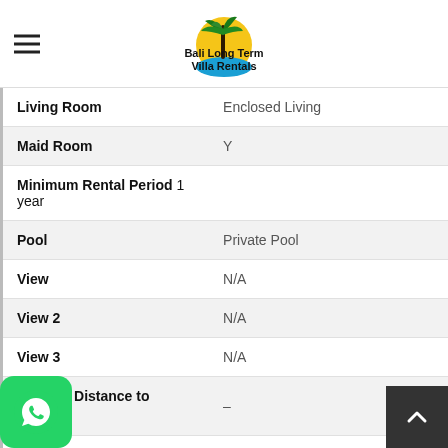Bali Long Term Villa Rentals
| Living Room | Enclosed Living |
| Maid Room | Y |
| Minimum Rental Period | 1 year |
| Pool | Private Pool |
| View | N/A |
| View 2 | N/A |
| View 3 | N/A |
| Walking Distance to Beach | – |
| Water Supply | Well Pump |